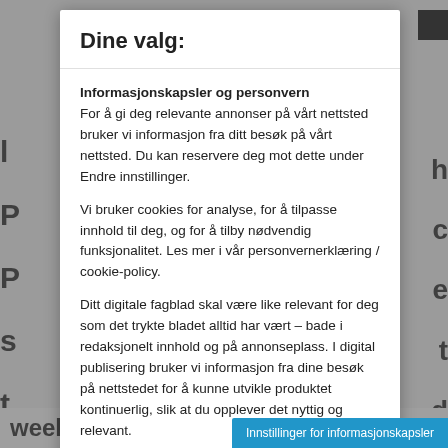Dine valg:
Informasjonskapsler og personvern
For å gi deg relevante annonser på vårt nettsted bruker vi informasjon fra ditt besøk på vårt nettsted. Du kan reservere deg mot dette under Endre innstillinger.
Vi bruker cookies for analyse, for å tilpasse innhold til deg, og for å tilby nødvendig funksjonalitet. Les mer i vår personvernerklæring / cookie-policy.
Ditt digitale fagblad skal være like relevant for deg som det trykte bladet alltid har vært – bade i redaksjonelt innhold og på annonseplass. I digital publisering bruker vi informasjon fra dine besøk på nettstedet for å kunne utvikle produktet kontinuerlig, slik at du opplever det nyttig og relevant.
Godta valgte
Innstillinger
Innstillinger for informasjonskapsler
weekly strength training se